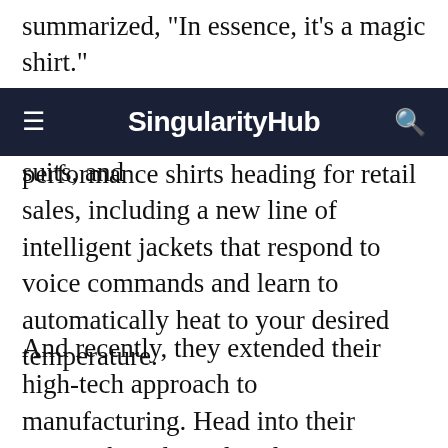summarized, "In essence, it's a magic shirt."
SingularityHub
That magic shirt led to magic pants, suits, and performance shirts heading for retail sales, including a new line of intelligent jackets that respond to voice commands and learn to automatically heat to your desired temperature.
And recently, they extended their high-tech approach to manufacturing. Head into their Boston-based retail outlet on fashionable Newbury Street and you can have your high-performance shirt—or for that matter, suit, blouse, and pants—3D printed while you wait. It takes about 90 minutes. And the machine is a marvel. With 4,000 individual needles and a dozen different yarns, the printer can create